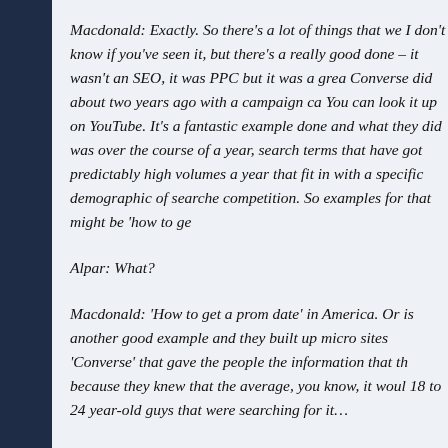Macdonald: Exactly. So there's a lot of things that we I don't know if you've seen it, but there's a really good done – it wasn't an SEO, it was PPC but it was a great Converse did about two years ago with a campaign ca You can look it up on YouTube. It's a fantastic example done and what they did was over the course of a year, search terms that have got predictably high volumes a year that fit in with a specific demographic of searche competition. So examples for that might be 'how to ge
Alpar: What?
Macdonald: 'How to get a prom date' in America. Or is another good example and they built up micro sites 'Converse' that gave the people the information that th because they knew that the average, you know, it woul 18 to 24 year-old guys that were searching for it…